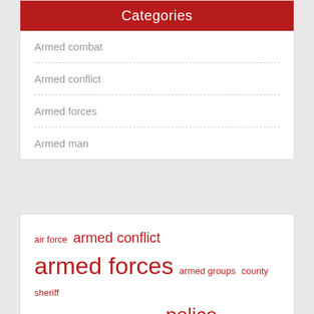Categories
Armed combat
Armed conflict
Armed forces
Armed man
air force  armed conflict  armed forces  armed groups  county sheriff  human rights  law enforcement  police department  police officers  press conference  prime minister  pronounced dead